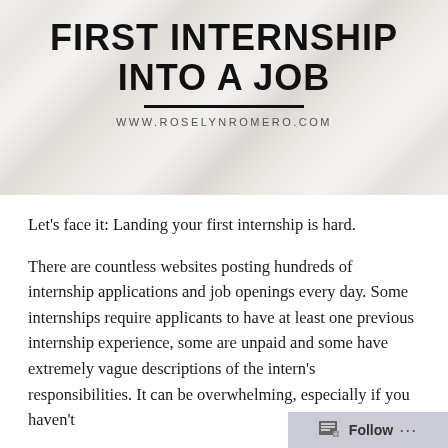FIRST INTERNSHIP INTO A JOB
WWW.ROSELYNROMERO.COM
Let's face it: Landing your first internship is hard.
There are countless websites posting hundreds of internship applications and job openings every day. Some internships require applicants to have at least one previous internship experience, some are unpaid and some have extremely vague descriptions of the intern's responsibilities. It can be overwhelming, especially if you haven't
Follow ...